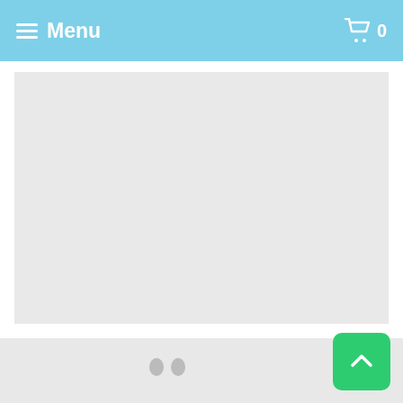Menu  0
[Figure (photo): Product image placeholder — light gray rectangle for Tychera Bracelet]
Tychera™ Bracelet
from $29.99 USD $180.00 USD